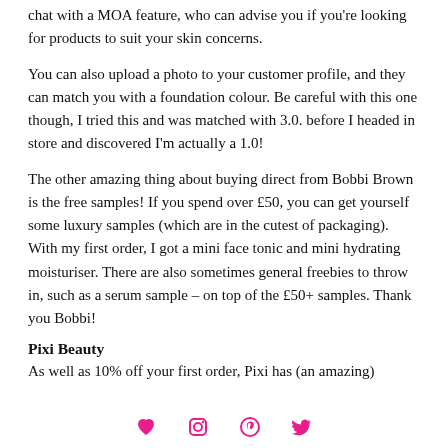chat with a MOA feature, who can advise you if you're looking for products to suit your skin concerns.
You can also upload a photo to your customer profile, and they can match you with a foundation colour. Be careful with this one though, I tried this and was matched with 3.0. before I headed in store and discovered I'm actually a 1.0!
The other amazing thing about buying direct from Bobbi Brown is the free samples! If you spend over £50, you can get yourself some luxury samples (which are in the cutest of packaging). With my first order, I got a mini face tonic and mini hydrating moisturiser. There are also sometimes general freebies to throw in, such as a serum sample – on top of the £50+ samples. Thank you Bobbi!
Pixi Beauty
As well as 10% off your first order, Pixi has (an amazing)
♥  instagram  pinterest  twitter icons